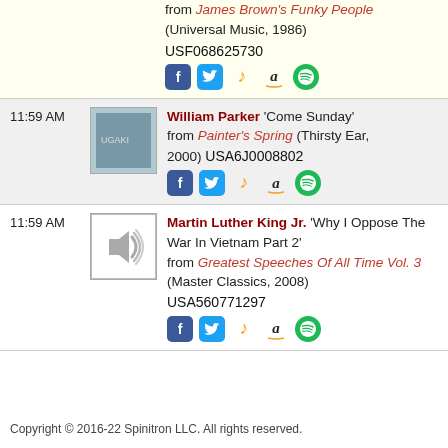from James Brown's Funky People (Universal Music, 1986) USF068625730
11:59 AM William Parker 'Come Sunday' from Painter's Spring (Thirsty Ear, 2000) USA6J0008802
11:59 AM Martin Luther King Jr. 'Why I Oppose The War In Vietnam Part 2' from Greatest Speeches Of All Time Vol. 3 (Master Classics, 2008) USA560771297
Copyright © 2016-22 Spinitron LLC. All rights reserved.